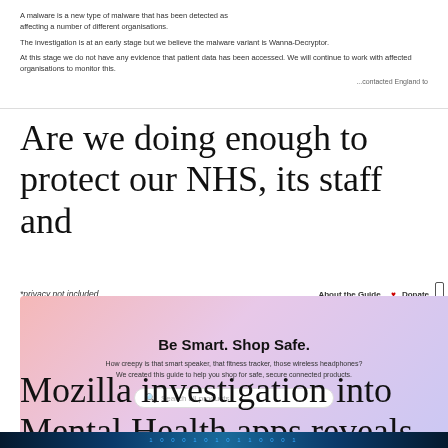[Figure (screenshot): Scanned document page showing text about a cybersecurity investigation mentioning malware and organizations]
Are we doing enough to protect our NHS, its staff and
[Figure (screenshot): Mozilla *privacy not included website screenshot showing 'Be Smart. Shop Safe.' tagline with a search bar and category navigation including Mental Health Apps, Smart Home, Toys & Games, Entertainment, Wearables, Health & Exercise, Pets, Video]
Mozilla investigation into Mental Health apps reveals
[Figure (screenshot): Dark blue digital/tech themed banner at the bottom of the page]